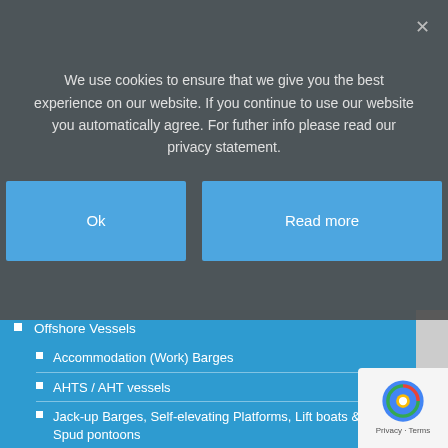We use cookies to ensure that we give you the best experience on our website. If you continue to use our website you automatically agree. For futher info please read our privacy statement.
Ok
Read more
Offshore Vessels
Accommodation (Work) Barges
AHTS / AHT vessels
Jack-up Barges, Self-elevating Platforms, Lift boats & Spud pontoons
MPSV / IMR vessels
Platform Supply Vessels
Oil – / Bunker Tankers
Tugs, Workboats and Multicats
Multi Purpose / Multicat